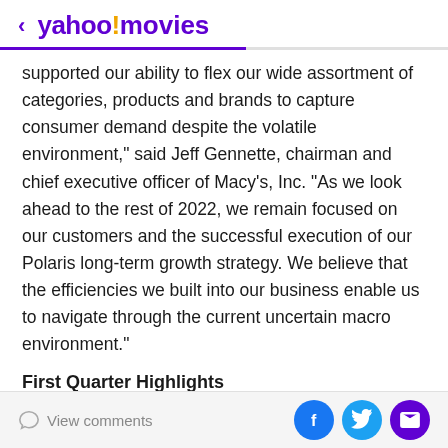< yahoo!movies
supported our ability to flex our wide assortment of categories, products and brands to capture consumer demand despite the volatile environment," said Jeff Gennette, chairman and chief executive officer of Macy's, Inc. "As we look ahead to the rest of 2022, we remain focused on our customers and the successful execution of our Polaris long-term growth strategy. We believe that the efficiencies we built into our business enable us to navigate through the current uncertain macro environment."
First Quarter Highlights
Comparisons are to first quarter 2021 unless noted
View comments